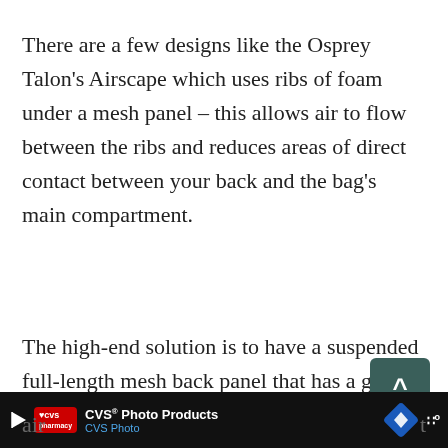There are a few designs like the Osprey Talon's Airscape which uses ribs of foam under a mesh panel – this allows air to flow between the ribs and reduces areas of direct contact between your back and the bag's main compartment.
The high-end solution is to have a suspended full-length mesh back panel that has a gap between it and the main compartment as seen on the Osprey Stratos. This allows even greater air
[Figure (other): Advertisement banner at bottom of page showing CVS Photo Products ad with CVS Pharmacy logo, navigation icon, and weather widget]